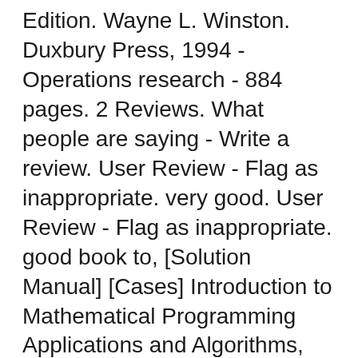Edition. Wayne L. Winston. Duxbury Press, 1994 - Operations research - 884 pages. 2 Reviews. What people are saying - Write a review. User Review - Flag as inappropriate. very good. User Review - Flag as inappropriate. good book to, [Solution Manual] [Cases] Introduction to Mathematical Programming Applications and Algorithms, Volume 1, 4th Edition Wayne L. Winston, Munirpallam Venkataramanan Solution Manual + cases Excel [Solution Manual] [InstructorвЂ™s Manual] Basic Marketing Research 9th Edition Tom J. Brown, Tracy A. Suter, Gilbert A. Churchill, 2018, Instructor.